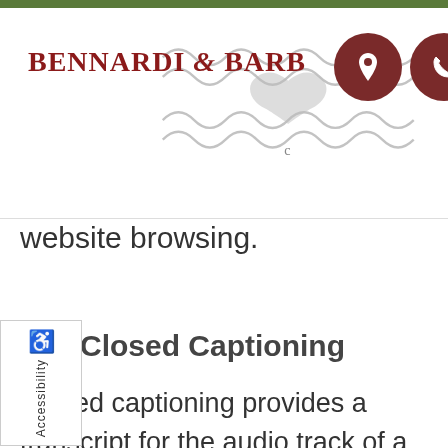[Figure (logo): Bennardi & Barb logo with ornamental design and dark red circular icons for location and phone]
website browsing.
Closed Captioning
Closed captioning provides a transcript for the audio track of a video presentation that is synchronized with the video and audio tracks. Captions are generally